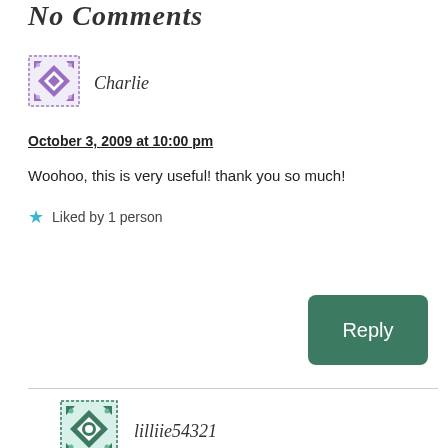No Comments
[Figure (illustration): Purple geometric/quilt-pattern avatar icon for user Charlie]
Charlie
October 3, 2009 at 10:00 pm
Woohoo, this is very useful! thank you so much!
Liked by 1 person
Reply
[Figure (illustration): Teal geometric/quilt-pattern avatar icon for user lilliie54321]
lilliie54321